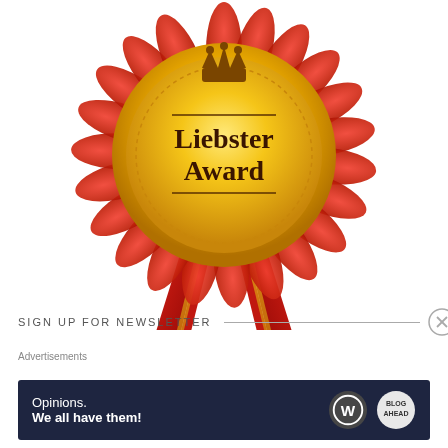[Figure (illustration): Liebster Award badge — a gold medal with 'Liebster Award' text and a crown, surrounded by red rosette petals, with two red ribbons hanging below with gold trim.]
SIGN UP FOR NEWSLETTER
Advertisements
[Figure (screenshot): WordPress advertisement banner: dark navy background with 'Opinions. We all have them!' text in white, and WordPress logo and another circular blog logo on the right.]